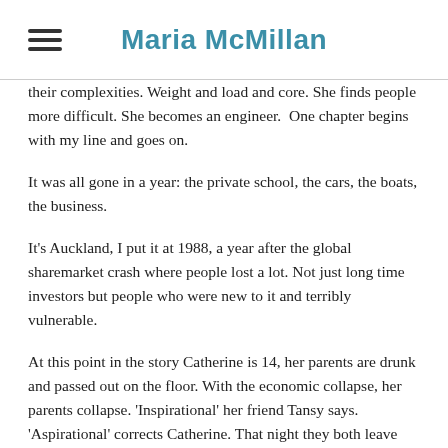Maria McMillan
their complexities. Weight and load and core. She finds people more difficult. She becomes an engineer.  One chapter begins with my line and goes on.
It was all gone in a year: the private school, the cars, the boats, the business.
It's Auckland, I put it at 1988, a year after the global sharemarket crash where people lost a lot. Not just long time investors but people who were new to it and terribly vulnerable.
At this point in the story Catherine is 14, her parents are drunk and passed out on the floor. With the economic collapse, her parents collapse. 'Inspirational' her friend Tansy says. 'Aspirational' corrects Catherine. That night they both leave home and Catherine leaves a note for her sister advising her to get out as soon as she can. I imagine remnants of wealth scattered through the house Catherine has left. A sort of decay that leaves me nauseated. A rot echoed through the book, most hauntingly for me when Catherine and Tansy